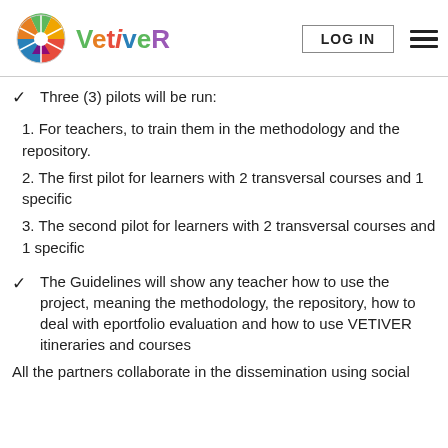VetiveR — LOG IN
Three (3) pilots will be run:
1. For teachers, to train them in the methodology and the repository.
2. The first pilot for learners with 2 transversal courses and 1 specific
3. The second pilot for learners with 2 transversal courses and 1 specific
The Guidelines will show any teacher how to use the project, meaning the methodology, the repository, how to deal with eportfolio evaluation and how to use VETIVER itineraries and courses
All the partners collaborate in the dissemination using social